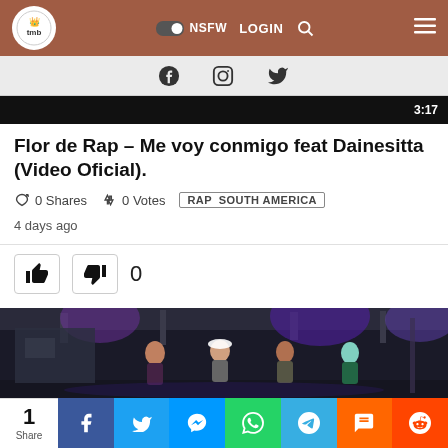NSFW  LOGIN  [navigation bar with logo]
Flor de Rap – Me voy conmigo feat Dainesitta (Video Oficial).
0 Shares  0 Votes  RAP  SOUTH AMERICA
4 days ago
👍 👎 0
[Figure (photo): Concert/performance photo showing several performers on stage under purple and blue lights in a dark venue]
1 Share | Facebook | Twitter | Messenger | WhatsApp | Telegram | SMS | Reddit